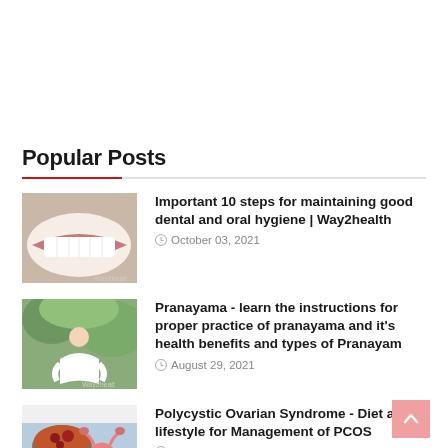Popular Posts
[Figure (photo): Close-up photo of a smiling mouth showing white teeth, with Way2health watermark]
Important 10 steps for maintaining good dental and oral hygiene | Way2health
October 03, 2021
[Figure (photo): Woman in white clothing meditating outdoors in nature, with Way2health watermark]
Pranayama - learn the instructions for proper practice of pranayama and it's health benefits and types of Pranayam
August 29, 2021
[Figure (photo): Bowl of food and anatomical illustration of female reproductive system, with Way2health watermark]
Polycystic Ovarian Syndrome - Diet and lifestyle for Management of PCOS
August 08, 2021